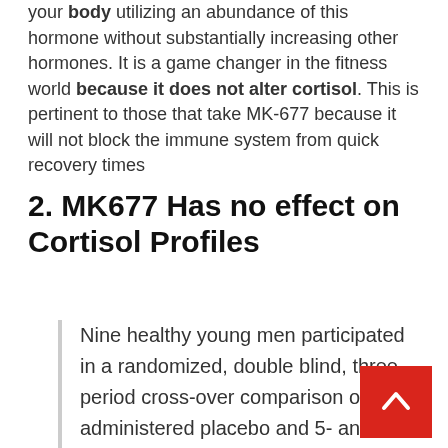your body utilizing an abundance of this hormone without substantially increasing other hormones. It is a game changer in the fitness world because it does not alter cortisol. This is pertinent to those that take MK-677 because it will not block the immune system from quick recovery times
2. MK677 Has no effect on Cortisol Profiles
Nine healthy young men participated in a randomized, double blind, three-period cross-over comparison of orally administered placebo and 5- and 25-mg doses of MK-677…for 7 consecutive days…MK-677 had no effect on cortisol profiles. In particular, 24-h mean levels of